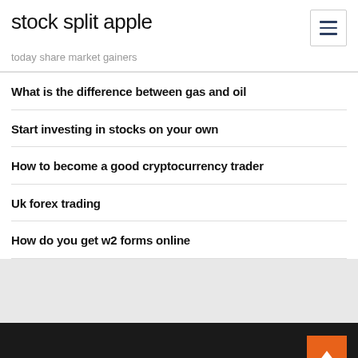stock split apple
today share market gainers
What is the difference between gas and oil
Start investing in stocks on your own
How to become a good cryptocurrency trader
Uk forex trading
How do you get w2 forms online
Top Stories